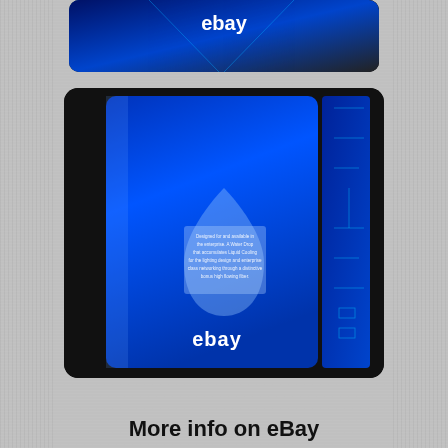[Figure (photo): Top partial photo of a blue eBay branded product box/crystal block, showing the top portion with 'ebay' text, on a dark background]
[Figure (photo): Main photo of a blue eBay branded acrylic/crystal block trophy or award. The block is bright blue with a water-drop shaped frosted design in the center containing small text. The word 'ebay' appears in white at the bottom of the blue block. The block is displayed against a black background with rounded corners.]
More info on eBay